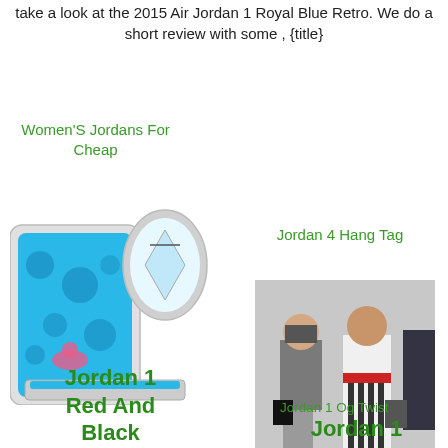take a look at the 2015 Air Jordan 1 Royal Blue Retro. We do a short review with some , {title}
Women'S Jordans For Cheap
[Figure (photo): Photo of a blue liquid phone case with bubble design for iPhone]
Jordan 4 Hang Tag
[Figure (photo): Photo of two women in formal attire walking together outdoors]
Jordan 1 Og Twist
Jordan 1 Red And Black
Jordan 1 Retro High